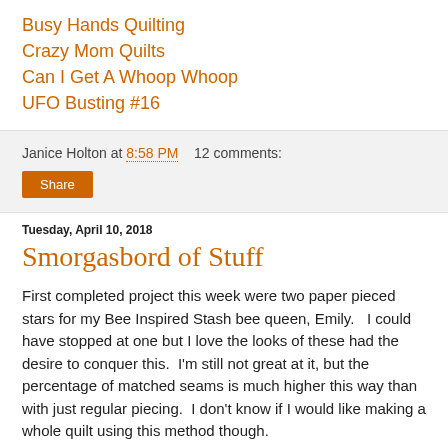Busy Hands Quilting
Crazy Mom Quilts
Can I Get A Whoop Whoop
UFO Busting #16
Janice Holton at 8:58 PM   12 comments:
Share
Tuesday, April 10, 2018
Smorgasbord of Stuff
First completed project this week were two paper pieced stars for my Bee Inspired Stash bee queen, Emily.   I could have stopped at one but I love the looks of these had the desire to conquer this.  I'm still not great at it, but the percentage of matched seams is much higher this way than with just regular piecing.  I don't know if I would like making a whole quilt using this method though.
[Figure (photo): Partial image visible at the bottom of the page, appears to be a quilt photo]